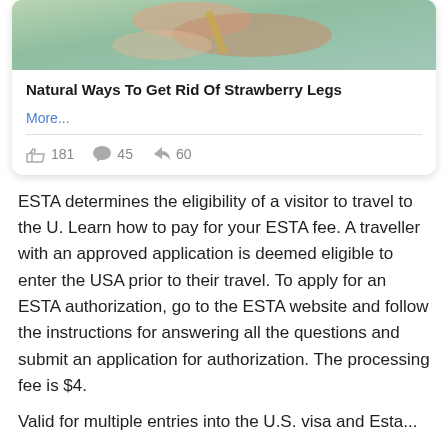[Figure (photo): Close-up photo of hands applying something to skin, with a teal/green background]
Natural Ways To Get Rid Of Strawberry Legs
More...
181  45  60
ESTA determines the eligibility of a visitor to travel to the U. Learn how to pay for your ESTA fee. A traveller with an approved application is deemed eligible to enter the USA prior to their travel. To apply for an ESTA authorization, go to the ESTA website and follow the instructions for answering all the questions and submit an application for authorization. The processing fee is $4.
Valid for multiple entries into the U.S. visa and Esta...